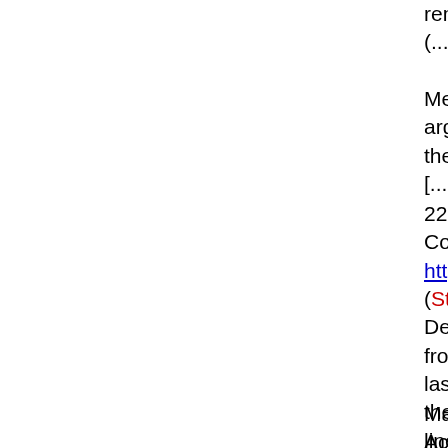remembered the alleged assaults a(...)
Memory researchers say there is n arguing other forces are at work, s therapists.
[...more...]
22. OSU conferences provide resp Columbus Dispatch, May 9, 1999 http://www.dispatch.com/pan/locala (Story no longer online? Read this) Despite recent fraternization betwe from the front is that no truce has b last week at Ohio State University, theologians, evangelicals and crea lines might be drawn.
Mainstream academics flocked to Accommodation and Engagement, "Rediscover Creation."